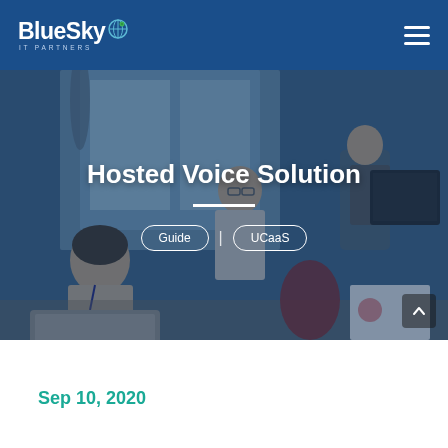BlueSky IT Partners
[Figure (photo): Office scene with people working at computers, overlaid with dark blue tint. Shows title 'Hosted Voice Solution' with Guide and UCaaS tags below a horizontal divider.]
Hosted Voice Solution
Guide | UCaaS
Sep 10, 2020